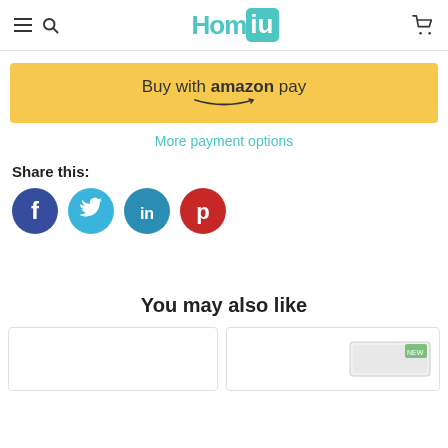Homiu
[Figure (screenshot): Amazon Pay button with gold/yellow background, text reads 'Buy with amazon pay']
More payment options
Share this:
[Figure (infographic): Four social media share icons: Facebook (dark blue circle with 'f'), Twitter (teal circle with bird), LinkedIn (teal circle with 'in'), Pinterest (red circle with 'p')]
You may also like
[Figure (photo): Two product card thumbnails at bottom of page, right card shows partial product box image]